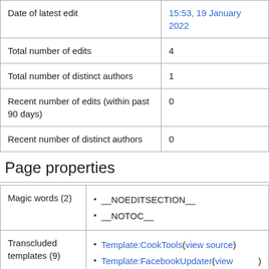|  |  |
| --- | --- |
| Date of latest edit | 15:53, 19 January 2022 |
| Total number of edits | 4 |
| Total number of distinct authors | 1 |
| Recent number of edits (within past 90 days) | 0 |
| Recent number of distinct authors | 0 |
Page properties
|  |  |
| --- | --- |
| Magic words (2) | __NOEDITSECTION__
__NOTOC__ |
| Transcluded templates (9) | Template:CookTools (view source)
Template:FacebookUpdater (view source) |